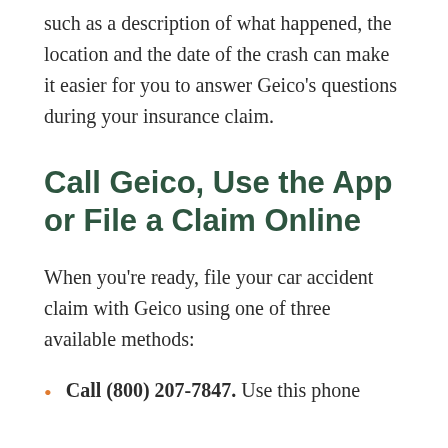such as a description of what happened, the location and the date of the crash can make it easier for you to answer Geico's questions during your insurance claim.
Call Geico, Use the App or File a Claim Online
When you're ready, file your car accident claim with Geico using one of three available methods:
Call (800) 207-7847. Use this phone